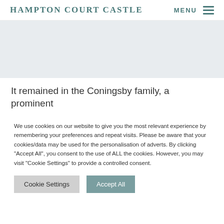Hampton Court Castle   Menu
[Figure (photo): Hero image area, light grey placeholder background]
It remained in the Coningsby family, a prominent
We use cookies on our website to give you the most relevant experience by remembering your preferences and repeat visits. Please be aware that your cookies/data may be used for the personalisation of adverts. By clicking "Accept All", you consent to the use of ALL the cookies. However, you may visit "Cookie Settings" to provide a controlled consent.